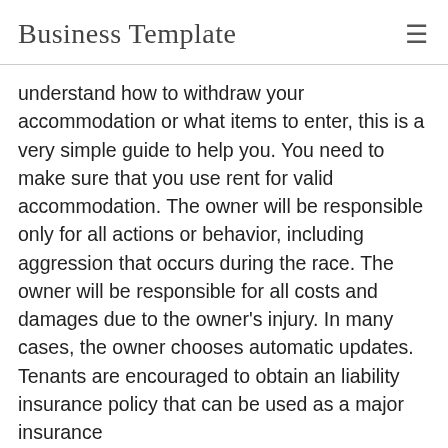Business Template
understand how to withdraw your accommodation or what items to enter, this is a very simple guide to help you. You need to make sure that you use rent for valid accommodation. The owner will be responsible only for all actions or behavior, including aggression that occurs during the race. The owner will be responsible for all costs and damages due to the owner's injury. In many cases, the owner chooses automatic updates. Tenants are encouraged to obtain an liability insurance policy that can be used as a major insurance